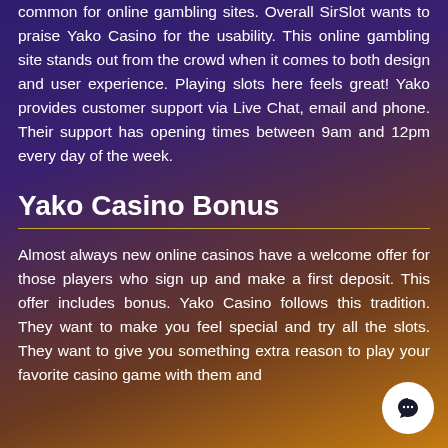common for online gambling sites. Overall SirSlot wants to praise Yako Casino for the usability. This online gambling site stands out from the crowd when it comes to both design and user experience. Playing slots here feels great! Yako provides customer support via Live Chat, email and phone. Their support has opening times between 9am and 12pm every day of the week.
Yako Casino Bonus
Almost always new online casinos have a welcome offer for those players who sign up and make a first deposit. This offer includes bonus. Yako Casino follows this tradition. They want to make you feel special and try all the slots. They want to give you something extra reason to play your favorite casino game with them and